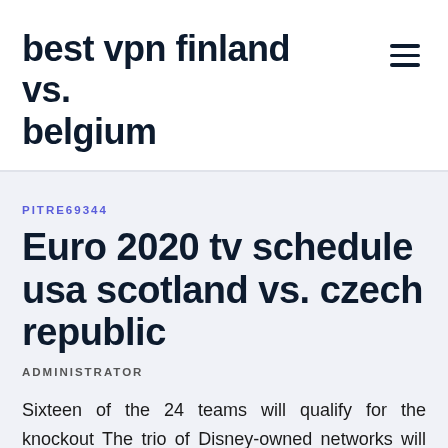best vpn finland vs. belgium
PITRE69344
Euro 2020 tv schedule usa scotland vs. czech republic
ADMINISTRATOR
Sixteen of the 24 teams will qualify for the knockout The trio of Disney-owned networks will air more than 140 live hours and 51 matches of Euro 2020, which kicks off June 12 in Rome with Turkey against Italy. The